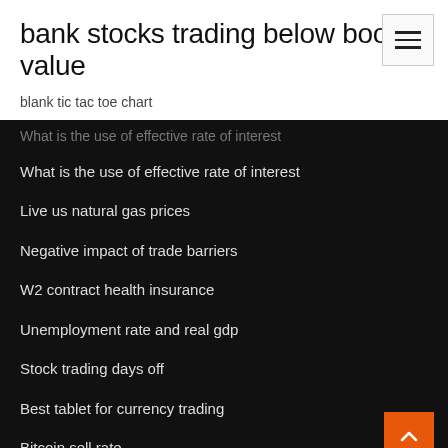bank stocks trading below book value
blank tic tac toe chart
What is the use of effective rate of interest
What is the use of effective rate of interest
Live us natural gas prices
Negative impact of trade barriers
W2 contract health insurance
Unemployment rate and real gdp
Stock trading days off
Best tablet for currency trading
Bitcoin sell rate